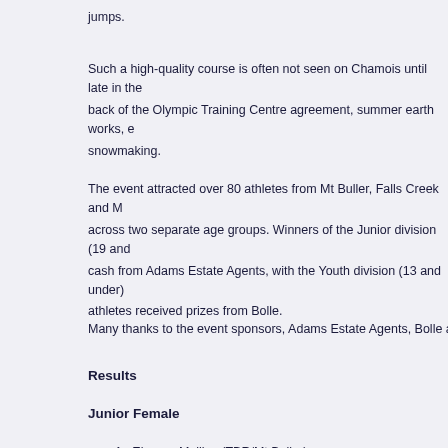jumps.
Such a high-quality course is often not seen on Chamois until late in the back of the Olympic Training Centre agreement, summer earth works, e snowmaking.
The event attracted over 80 athletes from Mt Buller, Falls Creek and M across two separate age groups. Winners of the Junior division (19 and cash from Adams Estate Agents, with the Youth division (13 and under) athletes received prizes from Bolle.
Many thanks to the event sponsors, Adams Estate Agents, Bolle and es
Results
Junior Female
1.  Eleanor Mullins (TBR/Mt Buller)
2.  Buzz McKenna (TBR/Mt Buller)